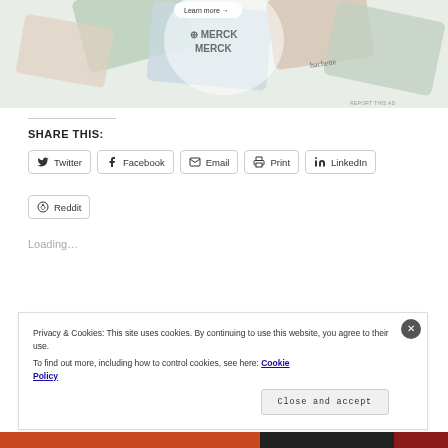[Figure (photo): Top portion of a webpage showing Merck branded cards/packaging arranged in a collage. Text 'Learn more →' visible. 'REPORT THIS AD' label at bottom right.]
SHARE THIS:
Twitter
Facebook
Email
Print
LinkedIn
Reddit
Loading…
Privacy & Cookies: This site uses cookies. By continuing to use this website, you agree to their use.
To find out more, including how to control cookies, see here: Cookie Policy
Close and accept